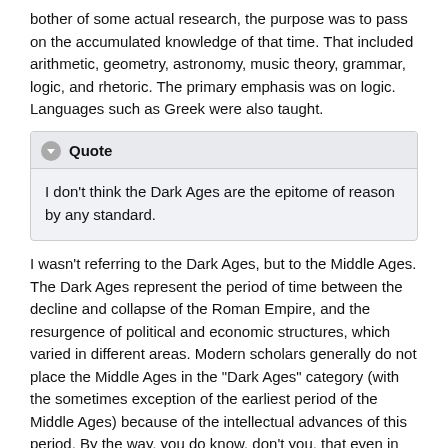bother of some actual research, the purpose was to pass on the accumulated knowledge of that time. That included arithmetic, geometry, astronomy, music theory, grammar, logic, and rhetoric. The primary emphasis was on logic. Languages such as Greek were also taught.
Quote
I don't think the Dark Ages are the epitome of reason by any standard.
I wasn't referring to the Dark Ages, but to the Middle Ages. The Dark Ages represent the period of time between the decline and collapse of the Roman Empire, and the resurgence of political and economic structures, which varied in different areas. Modern scholars generally do not place the Middle Ages in the "Dark Ages" category (with the sometimes exception of the earliest period of the Middle Ages) because of the intellectual advances of this period. By the way, you do know, don't you, that even in the Dark Ages, when the Roman Empire collapsed, that it was religious monks who copied and preserved the texts of Aristotle